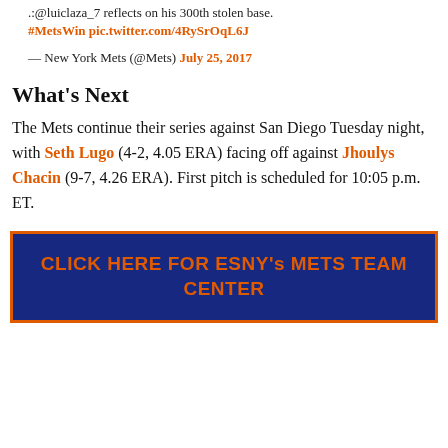.:@luiclaza_7 reflects on his 300th stolen base. #MetsWin pic.twitter.com/4RySrOqL6J
— New York Mets (@Mets) July 25, 2017
What's Next
The Mets continue their series against San Diego Tuesday night, with Seth Lugo (4-2, 4.05 ERA) facing off against Jhoulys Chacin (9-7, 4.26 ERA). First pitch is scheduled for 10:05 p.m. ET.
CLICK HERE FOR ESNY's METS TEAM CENTER